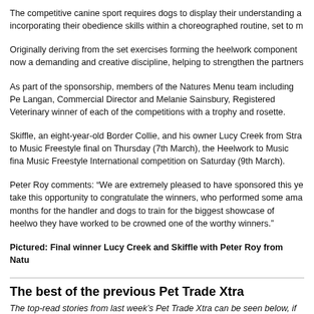The competitive canine sport requires dogs to display their understanding and incorporating their obedience skills within a choreographed routine, set to m
Originally deriving from the set exercises forming the heelwork component of now a demanding and creative discipline, helping to strengthen the partners
As part of the sponsorship, members of the Natures Menu team including Pe Langan, Commercial Director and Melanie Sainsbury, Registered Veterinary winner of each of the competitions with a trophy and rosette.
Skiffle, an eight-year-old Border Collie, and his owner Lucy Creek from Stra to Music Freestyle final on Thursday (7th March), the Heelwork to Music fina Music Freestyle International competition on Saturday (9th March).
Peter Roy comments: “We are extremely pleased to have sponsored this ye take this opportunity to congratulate the winners, who performed some ama months for the handler and dogs to train for the biggest showcase of heelwo they have worked to be crowned one of the worthy winners.”
Pictured: Final winner Lucy Creek and Skiffle with Peter Roy from Natu
The best of the previous Pet Trade Xtra
The top-read stories from last week’s Pet Trade Xtra can be seen below, if you missed the